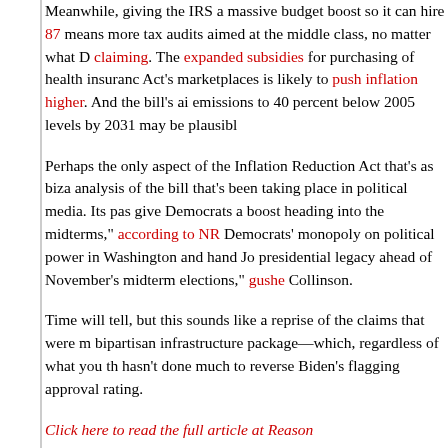Meanwhile, giving the IRS a massive budget boost so it can hire 87 means more tax audits aimed at the middle class, no matter what D claiming. The expanded subsidies for purchasing of health insuranc Act's marketplaces is likely to push inflation higher. And the bill's ai emissions to 40 percent below 2005 levels by 2031 may be plausibl
Perhaps the only aspect of the Inflation Reduction Act that's as biza analysis of the bill that's been taking place in political media. Its pas give Democrats a boost heading into the midterms," according to NR Democrats' monopoly on political power in Washington and hand Jo presidential legacy ahead of November's midterm elections," gushe Collinson.
Time will tell, but this sounds like a reprise of the claims that were m bipartisan infrastructure package—which, regardless of what you th hasn't done much to reverse Biden's flagging approval rating.
Click here to read the full article at Reason